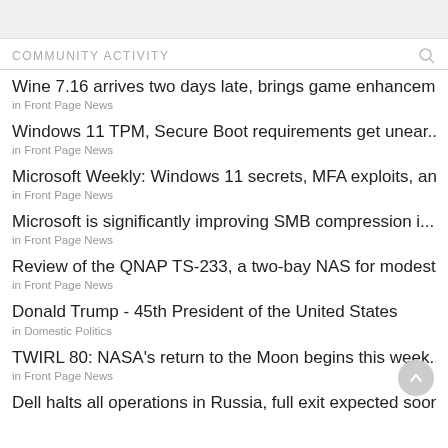COMMUNITY ACTIVITY
Wine 7.16 arrives two days late, brings game enhancem...
Windows 11 TPM, Secure Boot requirements get unear...
Microsoft Weekly: Windows 11 secrets, MFA exploits, an...
Microsoft is significantly improving SMB compression i...
Review of the QNAP TS-233, a two-bay NAS for modest ...
Donald Trump - 45th President of the United States
TWIRL 80: NASA's return to the Moon begins this week...
Dell halts all operations in Russia, full exit expected soon